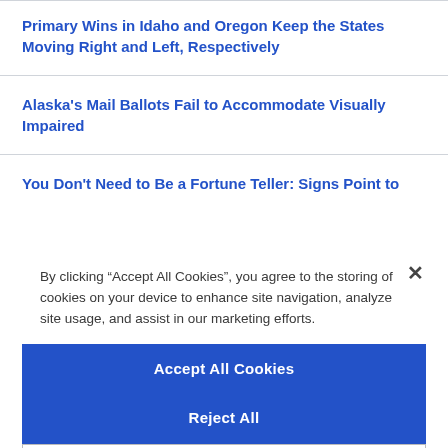Primary Wins in Idaho and Oregon Keep the States Moving Right and Left, Respectively
Alaska's Mail Ballots Fail to Accommodate Visually Impaired
You Don't Need to Be a Fortune Teller: Signs Point to
By clicking “Accept All Cookies”, you agree to the storing of cookies on your device to enhance site navigation, analyze site usage, and assist in our marketing efforts.
Accept All Cookies
Reject All
Cookies Settings